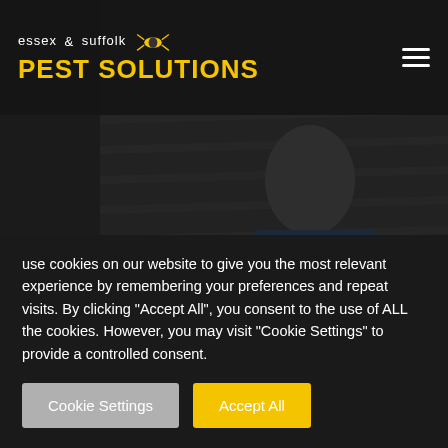Essex & Suffolk PEST SOLUTIONS
[Figure (screenshot): Website screenshot of Essex & Suffolk Pest Solutions with a pest control technician in protective gear in the background]
Y PEST CONTROL – HARDER THAN L THINK
use cookies on our website to give you the most relevant experience by remembering your preferences and repeat visits. By clicking "Accept All", you consent to the use of ALL the cookies. However, you may visit "Cookie Settings" to provide a controlled consent.
Cookie Settings | Accept All